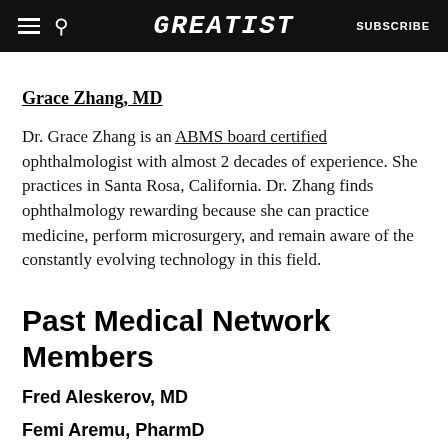GREATIST | SUBSCRIBE
Grace Zhang, MD
Dr. Grace Zhang is an ABMS board certified ophthalmologist with almost 2 decades of experience. She practices in Santa Rosa, California. Dr. Zhang finds ophthalmology rewarding because she can practice medicine, perform microsurgery, and remain aware of the constantly evolving technology in this field.
Past Medical Network Members
Fred Aleskerov, MD
Femi Aremu, PharmD